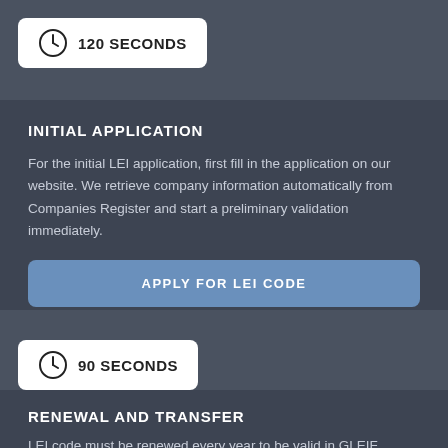[Figure (infographic): Clock icon badge showing '120 SECONDS' on white rounded rectangle]
INITIAL APPLICATION
For the initial LEI application, first fill in the application on our website. We retrieve company information automatically from Companies Register and start a preliminary validation immediately.
APPLY FOR LEI CODE
[Figure (infographic): Clock icon badge showing '90 SECONDS' on white rounded rectangle]
RENEWAL AND TRANSFER
LEI code must be renewed every year to be valid in GLEIF database. It is possible to transfer LEIs not